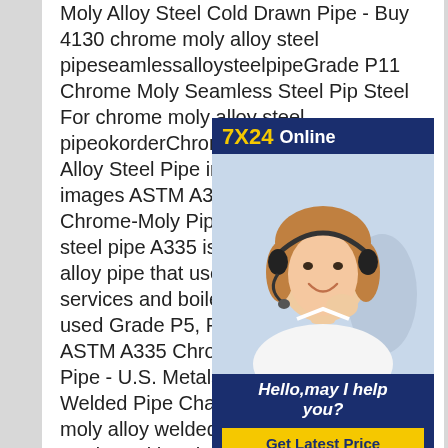Moly Alloy Steel Cold Drawn Pipe - Buy 4130 chrome moly alloy steel pipeseamlessalloysteelpipeGrade P11 Chrome Moly Seamless Steel Pipe Steel For chrome moly alloy steel pipeokorderChrome Moly Alloy Steel Tube, Alloy Steel Pipe in chrome alloy steel pipe images ASTM A3: P9, P11, P22, P91, Chrome-Moly Pipe chrome moly alloy steel pipe A335 is the seamless ferritic alloy pipe that used in high-temperature services and boiler industry. Common used Grade P5, P9, P11, P22, P91. ASTM A335 Chrome Moly Alloy Welded Pipe - U.S. MetalsChrome Moly Alloy Welded Pipe Characteristics . Chrome moly alloy welded pipe is a tubular product with enhanced levels of chromium
[Figure (other): Customer service chat widget with '7X24 Online' header, a photo of a woman with a headset, and a 'Hello,may I help you?' message with a 'Get Latest Price' button]